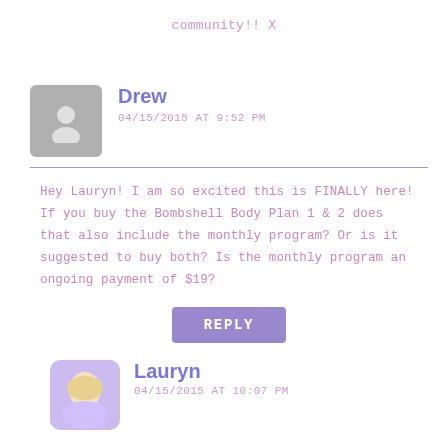community!! X
Drew
04/15/2015 AT 9:52 PM
Hey Lauryn! I am so excited this is FINALLY here! If you buy the Bombshell Body Plan 1 & 2 does that also include the monthly program? Or is it suggested to buy both? Is the monthly program an ongoing payment of $19?
REPLY
Lauryn
04/15/2015 AT 10:07 PM